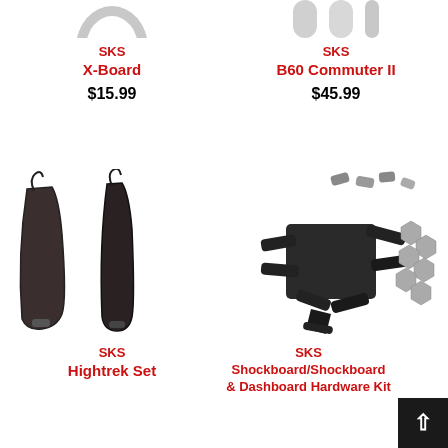[Figure (photo): Partial top view of SKS X-Board fender product, cropped at top]
SKS
X-Board
$15.99
[Figure (photo): Partial top view of SKS B60 Commuter II fender posts, cropped at top]
SKS
B60 Commuter II
$45.99
[Figure (photo): SKS Hightrek Set - two dark curved bicycle fenders side by side]
SKS
Hightrek Set
[Figure (photo): SKS Shockboard/Shockboard & Dashboard Hardware Kit - assorted black plastic and metal components]
SKS
Shockboard/Shockboard
& Dashboard Hardware Kit